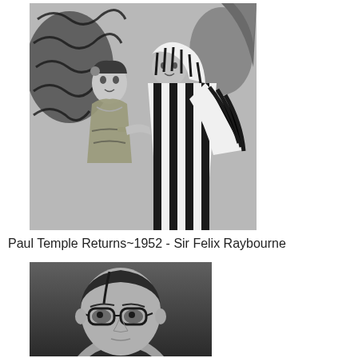[Figure (photo): Black and white film still showing a woman in a revealing costume and a man in a striped cloak and hood, facing each other dramatically.]
Paul Temple Returns~1952 - Sir Felix Raybourne
[Figure (photo): Black and white close-up portrait of a man wearing glasses, looking slightly downward.]